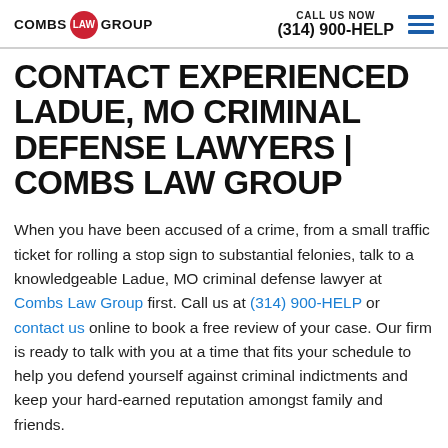COMBS LAW GROUP | CALL US NOW (314) 900-HELP
CONTACT EXPERIENCED LADUE, MO CRIMINAL DEFENSE LAWYERS | COMBS LAW GROUP
When you have been accused of a crime, from a small traffic ticket for rolling a stop sign to substantial felonies, talk to a knowledgeable Ladue, MO criminal defense lawyer at Combs Law Group first. Call us at (314) 900-HELP or contact us online to book a free review of your case. Our firm is ready to talk with you at a time that fits your schedule to help you defend yourself against criminal indictments and keep your hard-earned reputation amongst family and friends.